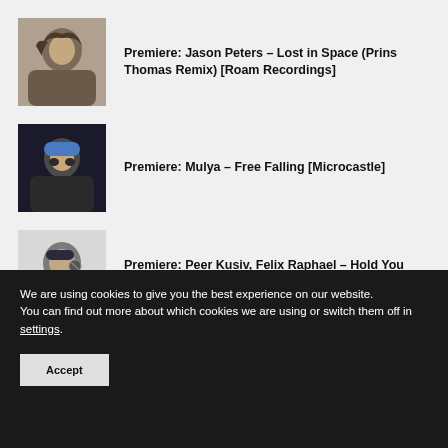Premiere: Jason Peters – Lost in Space (Prins Thomas Remix) [Roam Recordings]
Premiere: Mulya – Free Falling [Microcastle]
Premiere: Peer Kusiv, Felix Raphael – Hold You (Yubik Remix) [YION]
CATEGORIES
We are using cookies to give you the best experience on our website.
You can find out more about which cookies we are using or switch them off in settings.
Accept